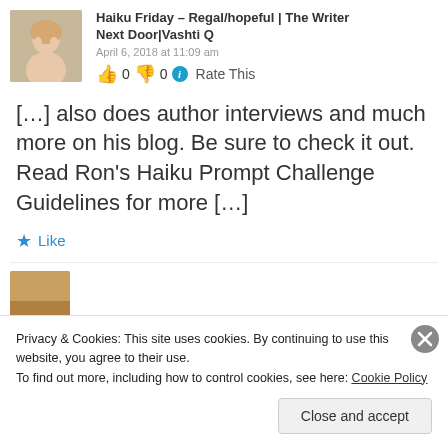[Figure (photo): Avatar photo of a woman with fair skin and light hair, cropped face shot]
Haiku Friday – Regal/hopeful | The Writer Next Door|Vashti Q
April 6, 2018 at 11:09 am
👍 0 👎 0 ℹ Rate This
[…] also does author interviews and much more on his blog. Be sure to check it out. Read Ron's Haiku Prompt Challenge Guidelines for more […]
★ Like
[Figure (photo): Partial avatar image visible at bottom, brownish tones]
Privacy & Cookies: This site uses cookies. By continuing to use this website, you agree to their use.
To find out more, including how to control cookies, see here: Cookie Policy
Close and accept